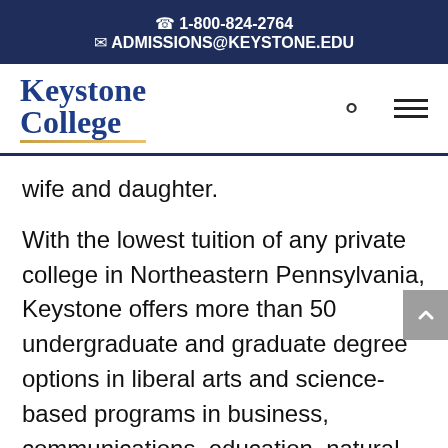📞 1-800-824-2764 ✉ ADMISSIONS@KEYSTONE.EDU
[Figure (logo): Keystone College logo with blue serif text and gold underline]
wife and daughter.
With the lowest tuition of any private college in Northeastern Pennsylvania, Keystone offers more than 50 undergraduate and graduate degree options in liberal arts and science-based programs in business, communications, education, natural science, environmental science, and social